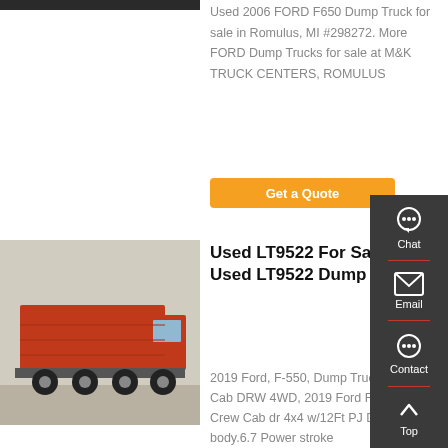[Figure (photo): Partial view of truck at top of page]
Used 2006 FORD F650 Dump Truck for sale in Romulus, MI #298272. More FORD Dump Trucks for sale at M&K TRUCK CENTERS, ROMULUS
Get a Quote
[Figure (photo): Orange/red LT9522 dump truck parked outdoors]
Used LT9522 For Sale - Used LT9522 Dump Trucks
2019 Ford, F-550, Dump Truck, Crew Cab DRW 4WD, 2019 Ford F550 XI Crew Cab dr 4x4 w/12Ft PJ Dump body.6.7 Power stroke